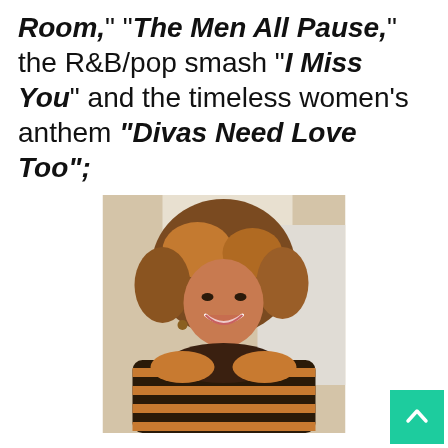Room," "The Men All Pause," the R&B/pop smash "I Miss You" and the timeless women's anthem "Divas Need Love Too";
[Figure (photo): A smiling woman with voluminous curly hair wearing a striped fur-style wrap/coat, posed in front of a light background.]